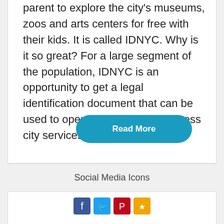parent to explore the city's museums, zoos and arts centers for free with their kids. It is called IDNYC. Why is it so great? For a large segment of the population, IDNYC is an opportunity to get a legal identification document that can be used to open bank accounts, access city services, receive...
Read More
Social Media Icons
[Figure (other): Row of social media icons partially visible at the bottom: Facebook (blue), Twitter (teal/blue), Pinterest (red), and another icon (orange/yellow)]